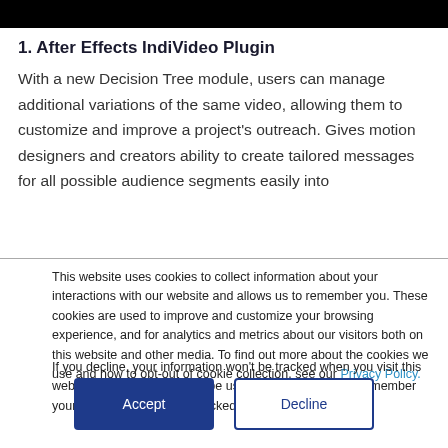1. After Effects IndiVideo Plugin
With a new Decision Tree module, users can manage additional variations of the same video, allowing them to customize and improve a project's outreach. Gives motion designers and creators ability to create tailored messages for all possible audience segments easily into
This website uses cookies to collect information about your interactions with our website and allows us to remember you. These cookies are used to improve and customize your browsing experience, and for analytics and metrics about our visitors both on this website and other media. To find out more about the cookies we use and how to opt-out of cookie collection, see our Privacy Policy.
If you decline, your information won't be tracked when you visit this website. A single cookie will be used in your browser to remember your preference not to be tracked.